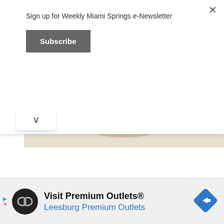Sign up for Weekly Miami Springs e-Newsletter
Subscribe
[Figure (photo): Family enjoying Chick-fil-A meal together at home — man in blue shirt, laughing boy in blue shirt, woman in beige jacket, with Chick-fil-A cups and bags on the table]
[Figure (infographic): Advertisement banner: Visit Premium Outlets® — Leesburg Premium Outlets, with black circular logo with double-arrow symbol and blue road-sign icon on the right]